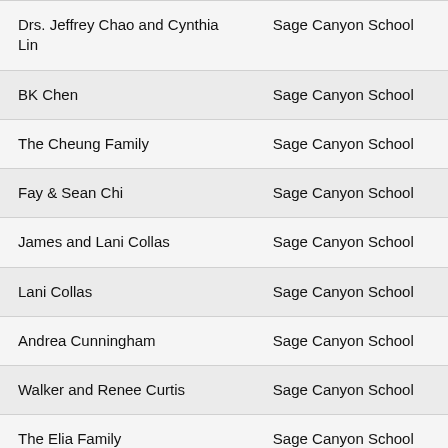| Name | School |
| --- | --- |
| Drs. Jeffrey Chao and Cynthia Lin | Sage Canyon School |
| BK Chen | Sage Canyon School |
| The Cheung Family | Sage Canyon School |
| Fay & Sean Chi | Sage Canyon School |
| James and Lani Collas | Sage Canyon School |
| Lani Collas | Sage Canyon School |
| Andrea Cunningham | Sage Canyon School |
| Walker and Renee Curtis | Sage Canyon School |
| The Elia Family | Sage Canyon School |